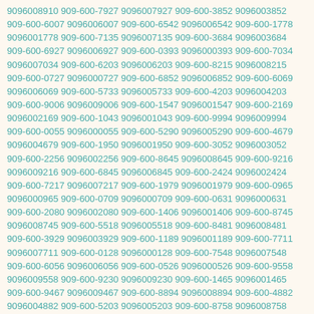9096008910 909-600-7927 9096007927 909-600-3852 9096003852 909-600-6007 9096006007 909-600-6542 9096006542 909-600-1778 9096001778 909-600-7135 9096007135 909-600-3684 9096003684 909-600-6927 9096006927 909-600-0393 9096000393 909-600-7034 9096007034 909-600-6203 9096006203 909-600-8215 9096008215 909-600-0727 9096000727 909-600-6852 9096006852 909-600-6069 9096006069 909-600-5733 9096005733 909-600-4203 9096004203 909-600-9006 9096009006 909-600-1547 9096001547 909-600-2169 9096002169 909-600-1043 9096001043 909-600-9994 9096009994 909-600-0055 9096000055 909-600-5290 9096005290 909-600-4679 9096004679 909-600-1950 9096001950 909-600-3052 9096003052 909-600-2256 9096002256 909-600-8645 9096008645 909-600-9216 9096009216 909-600-6845 9096006845 909-600-2424 9096002424 909-600-7217 9096007217 909-600-1979 9096001979 909-600-0965 9096000965 909-600-0709 9096000709 909-600-0631 9096000631 909-600-2080 9096002080 909-600-1406 9096001406 909-600-8745 9096008745 909-600-5518 9096005518 909-600-8481 9096008481 909-600-3929 9096003929 909-600-1189 9096001189 909-600-7711 9096007711 909-600-0128 9096000128 909-600-7548 9096007548 909-600-6056 9096006056 909-600-0526 9096000526 909-600-9558 9096009558 909-600-9230 9096009230 909-600-1465 9096001465 909-600-9467 9096009467 909-600-8894 9096008894 909-600-4882 9096004882 909-600-5203 9096005203 909-600-8758 9096008758 909-600-6964 9096006964 909-600-4596 9096004596 909-600-2381 9096002381 909-600-4372 9096004372 909-600-9714 9096009714 909-600-3197 9096003197 909-600-3587 9096003587 909-600-9729 9096009729 909-600-5028 9096005028 909-600-9110 9096009110 90